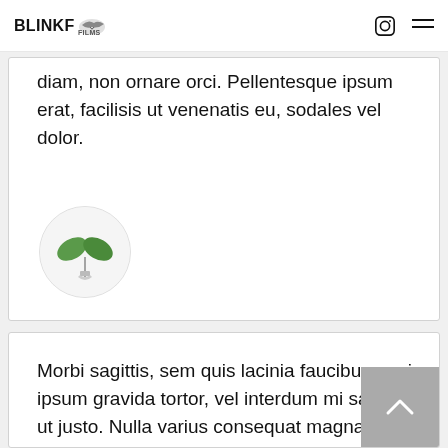BLINKFILMS [logo icon] [instagram icon] [menu icon]
diam, non ornare orci. Pellentesque ipsum erat, facilisis ut venenatis eu, sodales vel dolor.
[Figure (illustration): Circular avatar image with a small green plant (two leaves) in a white vase on a white/grey background]
Morbi sagittis, sem quis lacinia faucibus, orci ipsum gravida tortor, vel interdum mi sapien ut justo. Nulla varius consequat magna, id molestie ipsum volutpat quis.